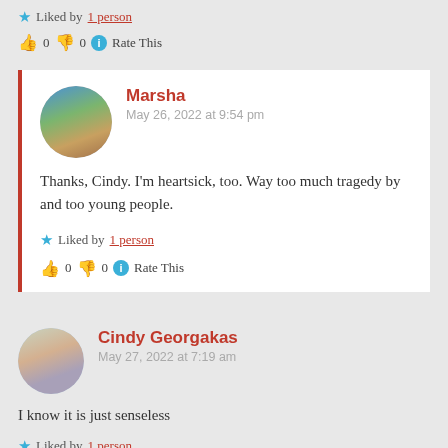★ Liked by 1 person
👍 0 👎 0 ℹ Rate This
Marsha
May 26, 2022 at 9:54 pm
Thanks, Cindy. I'm heartsick, too. Way too much tragedy by and too young people.
★ Liked by 1 person
👍 0 👎 0 ℹ Rate This
Cindy Georgakas
May 27, 2022 at 7:19 am
I know it is just senseless
★ Liked by 1 person